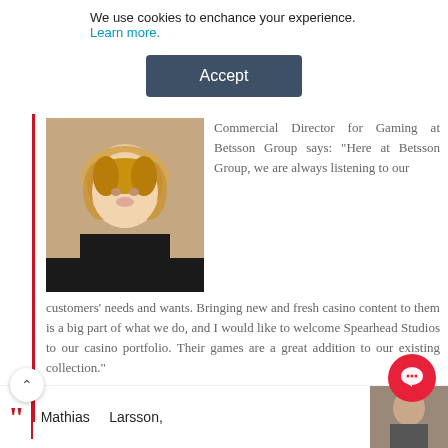We use cookies to enchance your experience. Learn more.
Accept
[Figure (photo): Portrait photo of a smiling woman with blonde hair wearing a dark top]
Commercial Director for Gaming at Betsson Group says: "Here at Betsson Group, we are always listening to our customers' needs and wants. Bringing new and fresh casino content to them is a big part of what we do, and I would like to welcome Spearhead Studios to our casino portfolio. Their games are a great addition to our existing collection."
Mathias Larsson,
[Figure (photo): Portrait photo of Mathias Larsson, partially visible at bottom right]